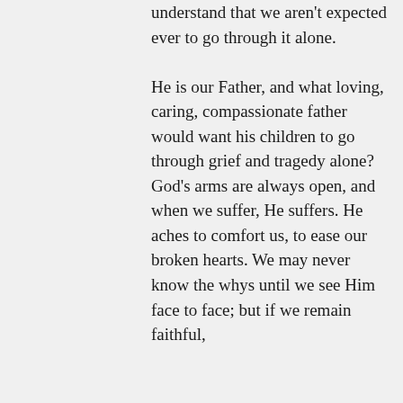understand that we aren't expected ever to go through it alone.

He is our Father, and what loving, caring, compassionate father would want his children to go through grief and tragedy alone? God's arms are always open, and when we suffer, He suffers. He aches to comfort us, to ease our broken hearts. We may never know the whys until we see Him face to face; but if we remain faithful,